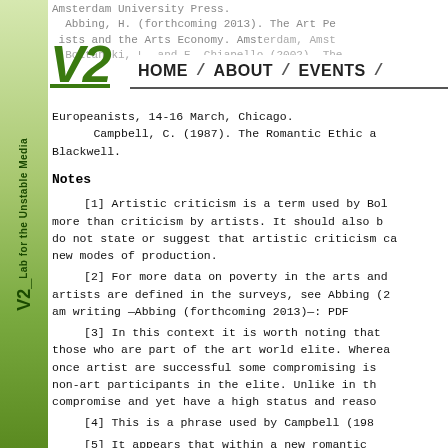Amsterdam University Press. Abbing, H. (forthcoming 2013). The Art Pe... ists and the Arts Economy. Amsterdam, Amst... Boltanski, L. and E. Chiapello (2002). The...
[Figure (logo): V2 logo — stylized italic green V2 letterform]
HOME / ABOUT / EVENTS /
Europeanists, 14-16 March, Chicago.
Campbell, C. (1987). The Romantic Ethic a... Blackwell.
Notes
[1] Artistic criticism is a term used by Bol... more than criticism by artists. It should also b... do not state or suggest that artistic criticism ca... new modes of production.
[2] For more data on poverty in the arts and... artists are defined in the surveys, see Abbing (2... am writing —Abbing (forthcoming 2013)—: PDF
[3] In this context it is worth noting that... those who are part of the art world elite. Wherea... once artist are successful some compromising is... non-art participants in the elite. Unlike in th... compromise and yet have a high status and reaso...
[4] This is a phrase used by Campbell (198...
[5] It appears that within a new romantic... reaching self-realization and authenticity is n... for youngsters to belong they must be and can be...